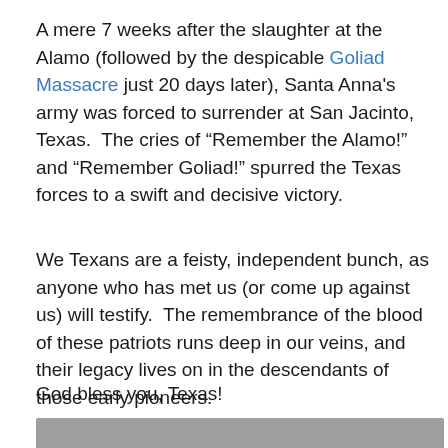A mere 7 weeks after the slaughter at the Alamo (followed by the despicable Goliad Massacre just 20 days later), Santa Anna's army was forced to surrender at San Jacinto, Texas.  The cries of “Remember the Alamo!” and “Remember Goliad!” spurred the Texas forces to a swift and decisive victory.
We Texans are a feisty, independent bunch, as anyone who has met us (or come up against us) will testify.  The remembrance of the blood of these patriots runs deep in our veins, and their legacy lives on in the descendants of those early pioneers.
God bless you, Texas!
[Figure (photo): Partial view of a photo with gray/taupe background, cropped at bottom of page]